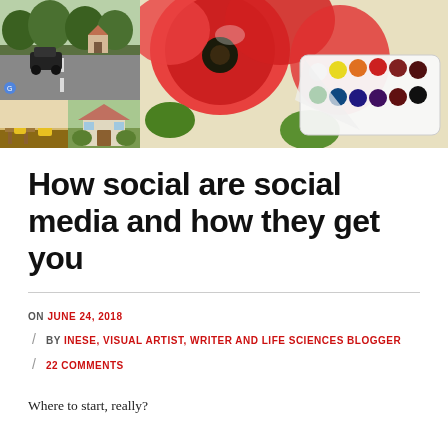[Figure (photo): Collage of images: left side shows street view screenshots (a road with cars and houses), right side shows a painting of red poppies with a watercolor paint palette]
How social are social media and how they get you
ON JUNE 24, 2018 / BY INESE, VISUAL ARTIST, WRITER AND LIFE SCIENCES BLOGGER / 22 COMMENTS
Where to start, really?